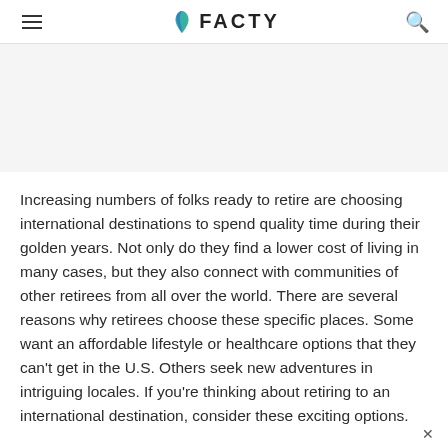FACTY
Increasing numbers of folks ready to retire are choosing international destinations to spend quality time during their golden years. Not only do they find a lower cost of living in many cases, but they also connect with communities of other retirees from all over the world. There are several reasons why retirees choose these specific places. Some want an affordable lifestyle or healthcare options that they can't get in the U.S. Others seek new adventures in intriguing locales. If you're thinking about retiring to an international destination, consider these exciting options.